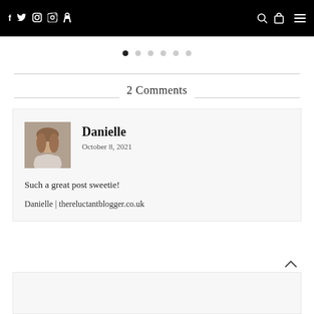Navigation bar with social icons (f, twitter, instagram, pinterest) and search, bag, menu icons
[Figure (other): Pagination dots row — 6 dots, first dot filled/active, rest empty]
2 Comments
Danielle
October 8, 2021
Such a great post sweetie!
Danielle | thereluctantblogger.co.uk